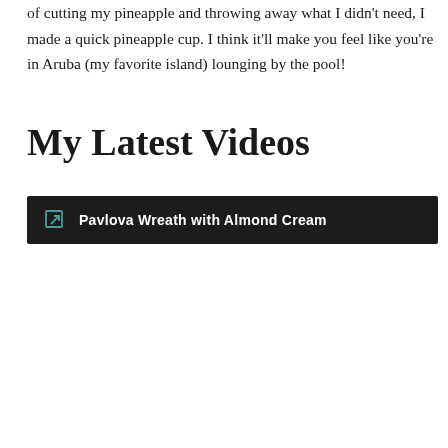of cutting my pineapple and throwing away what I didn't need, I made a quick pineapple cup. I think it'll make you feel like you're in Aruba (my favorite island) lounging by the pool!
My Latest Videos
Pavlova Wreath with Almond Cream